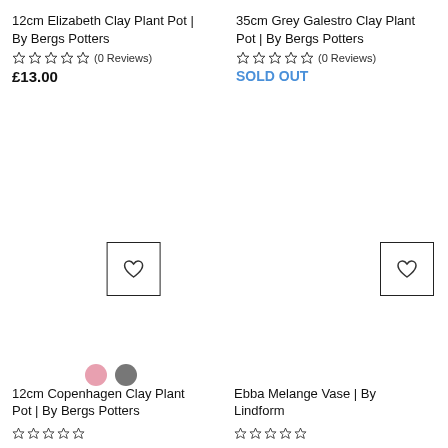12cm Elizabeth Clay Plant Pot | By Bergs Potters
☆☆☆☆☆ (0 Reviews)
£13.00
35cm Grey Galestro Clay Plant Pot | By Bergs Potters
☆☆☆☆☆ (0 Reviews)
SOLD OUT
[Figure (illustration): Wishlist heart icon button (outlined square with heart outline inside), left column]
[Figure (illustration): Wishlist heart icon button (outlined square with heart outline inside), right column]
[Figure (illustration): Two color swatches: pink circle and grey circle for Copenhagen Clay Plant Pot]
12cm Copenhagen Clay Plant Pot | By Bergs Potters
Ebba Melange Vase | By Lindform
☆☆☆☆☆
☆☆☆☆☆